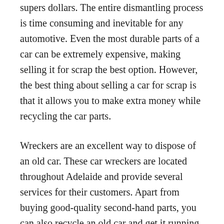supers dollars. The entire dismantling process is time consuming and inevitable for any automotive. Even the most durable parts of a car can be extremely expensive, making selling it for scrap the best option. However, the best thing about selling a car for scrap is that it allows you to make extra money while recycling the car parts.
Wreckers are an excellent way to dispose of an old car. These car wreckers are located throughout Adelaide and provide several services for their customers. Apart from buying good-quality second-hand parts, you can also recycle an old car and get it running again. Some wreckers even provide free removal and installation when buying parts from them. These services make it easy for you to get rid of an unwanted car and reap the benefits of reusing it as part of your new vehicle. For quality Ford wreckers Adelaide, check out at salisburyautoparts.com.au/ford-